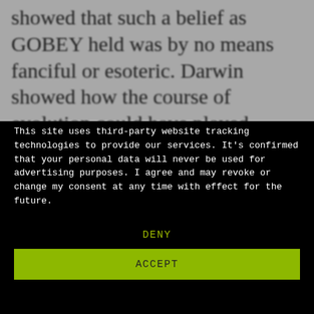showed that such a belief as GOBEY held was by no means fanciful or esoteric. Darwin showed how the course of evolution could have played
This site uses third-party website tracking technologies to provide our services. It's confirmed that your personal data will never be used for advertising purposes. I agree and may revoke or change my consent at any time with effect for the future.
DENY
ACCEPT
MORE
Powered by usercentrics
Imprint | Privacy Policy